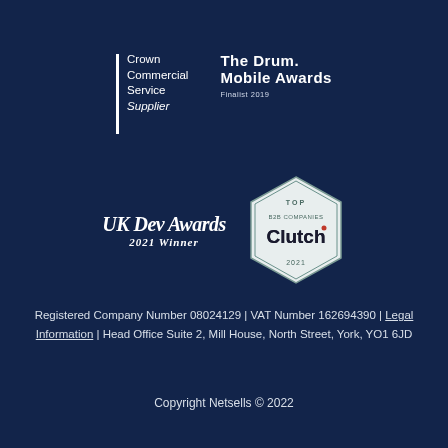[Figure (logo): Crown Commercial Service Supplier logo with vertical bar and stacked text, and The Drum Mobile Awards Finalist 2019 logo]
[Figure (logo): UK Dev Awards 2021 Winner logo (italic serif) and Clutch Top B2B Companies 2021 hexagon badge]
Registered Company Number 08024129 | VAT Number 162694390 | Legal Information | Head Office Suite 2, Mill House, North Street, York, YO1 6JD
Copyright Netsells © 2022